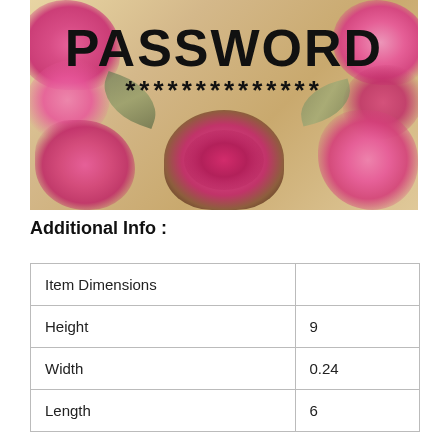[Figure (illustration): Decorative floral book cover image with pink flowers on left, right and bottom center, beige/tan background, bold text 'PASSWORD' at top and asterisks '**************' below it]
Additional Info :
| Item Dimensions |  |
| Height | 9 |
| Width | 0.24 |
| Length | 6 |